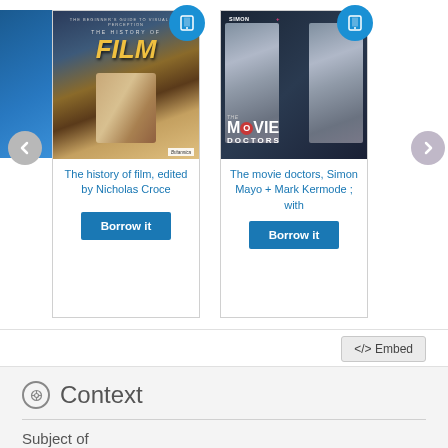[Figure (screenshot): Book carousel showing two book cards. Left card: 'The history of film, edited by Nicholas Croce' with a Britannica cover showing a filmmaker and gold FILM title. Right card: 'The movie doctors, Simon Mayo + Mark Kermode ; with' showing two men on the cover. Both have tablet icons and 'Borrow it' buttons. Navigation arrows visible.]
The history of film, edited by Nicholas Croce
Borrow it
The movie doctors, Simon Mayo + Mark Kermode ; with
Borrow it
</> Embed
Context
Subject of